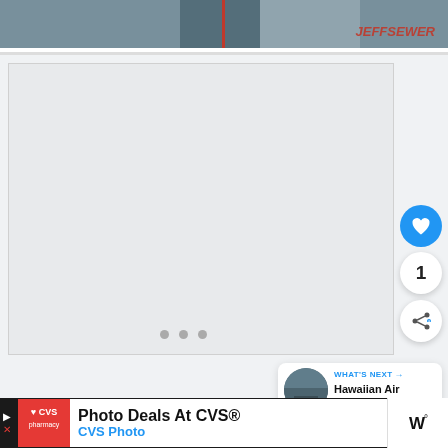[Figure (photo): Top portion of a webpage showing a dark photo/video thumbnail with a red vertical line and 'JEFFSEWER' text watermark in red italic.]
[Figure (screenshot): Main content area of a webpage showing a large light gray/white embedded video or content block with three navigation dots and social interaction buttons (like, count showing 1, share). A 'WHAT'S NEXT' card shows a thumbnail and text 'Hawaiian Air Honolulu to...']
WHAT'S NEXT
Hawaiian Air Honolulu to...
[Figure (screenshot): Advertisement bar at bottom: CVS Pharmacy ad reading 'Photo Deals At CVS® CVS Photo' with CVS logo, a blue navigation road sign icon, and a weather widget showing 'W°']